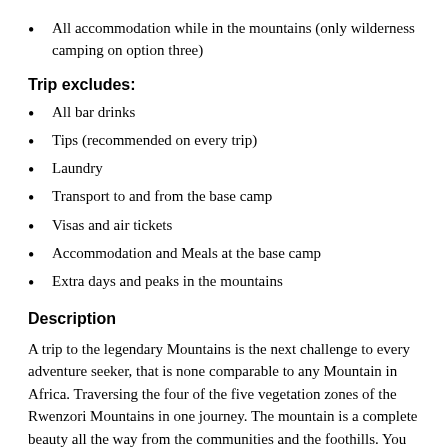All accommodation while in the mountains (only wilderness camping on option three)
Trip excludes:
All bar drinks
Tips (recommended on every trip)
Laundry
Transport to and from the base camp
Visas and air tickets
Accommodation and Meals at the base camp
Extra days and peaks in the mountains
Description
A trip to the legendary Mountains is the next challenge to every adventure seeker, that is none comparable to any Mountain in Africa. Traversing the four of the five vegetation zones of the Rwenzori Mountains in one journey. The mountain is a complete beauty all the way from the communities and the foothills. You will be entering through the local subsistence farming plots mixed with traditional